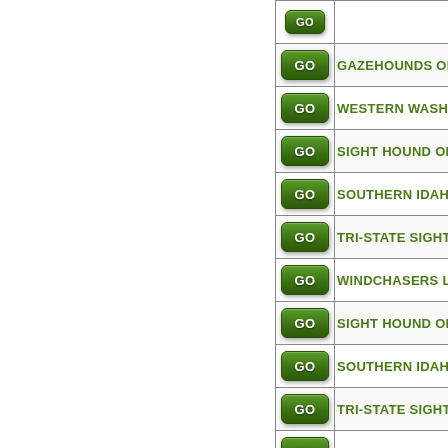| Go | Name |
| --- | --- |
| GO | GAZEHOUNDS OF N... |
| GO | WESTERN WASHING... |
| GO | SIGHT HOUND ORG... |
| GO | SOUTHERN IDAHO ... |
| GO | TRI-STATE SIGHTHO... |
| GO | WINDCHASERS LUP... |
| GO | SIGHT HOUND ORG... |
| GO | SOUTHERN IDAHO ... |
| GO | TRI-STATE SIGHTHO... |
| GO | WINDCHASERS LUP... |
| GO | BAY AREA RHODES... |
| GO | LAKE COUNTRY L... |